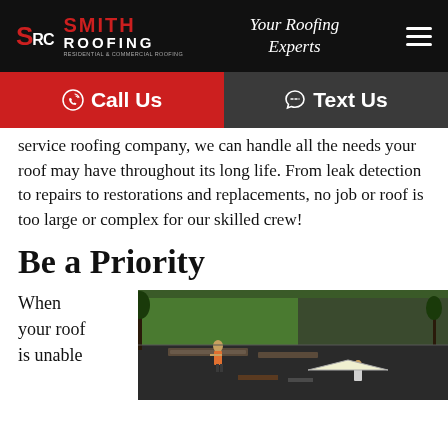SRC Smith Roofing — Your Roofing Experts
Call Us  Text Us
service roofing company, we can handle all the needs your roof may have throughout its long life. From leak detection to repairs to restorations and replacements, no job or roof is too large or complex for our skilled crew!
Be a Priority
When your roof is unable
[Figure (photo): Aerial view of a roofing job site with workers on a flat roof, green lawn visible, construction materials laid out]